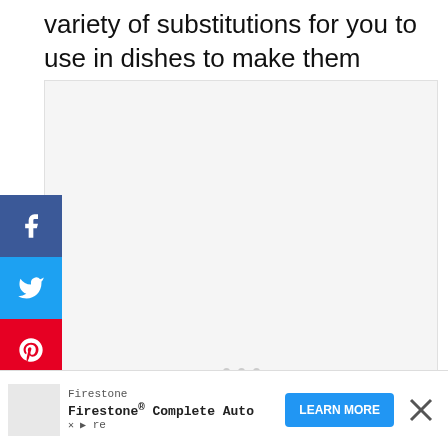variety of substitutions for you to use in dishes to make them healthier but not compromise on flavor.
[Figure (photo): Large image placeholder with light gray background and three small gray dots in the center]
[Figure (infographic): Social media sharing sidebar with Facebook (blue), Twitter (light blue), Pinterest (red), Email (green), and Print (gray) buttons]
[Figure (infographic): Right-side interaction buttons: teal heart/favorite button, count showing 301, and a share button]
[Figure (infographic): Advertisement banner: Firestone - Firestone Complete Auto Care with LEARN MORE button and close X button]